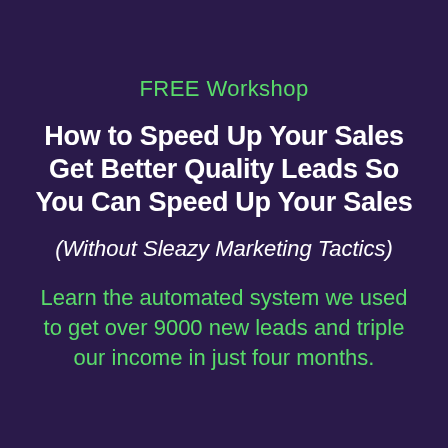FREE Workshop
How to Speed Up Your Sales Get Better Quality Leads So You Can Speed Up Your Sales
(Without Sleazy Marketing Tactics)
Learn the automated system we used to get over 9000 new leads and triple our income in just four months.